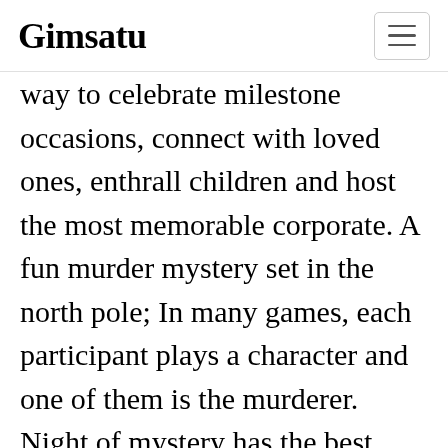Gimsatu
way to celebrate milestone occasions, connect with loved ones, enthrall children and host the most memorable corporate. A fun murder mystery set in the north pole; In many games, each participant plays a character and one of them is the murderer. Night of mystery has the best murder mystery party packages available online, all available with the click of a button. If you�re looking for a unique and entertaining murde✕ CLOSEstery game, look no